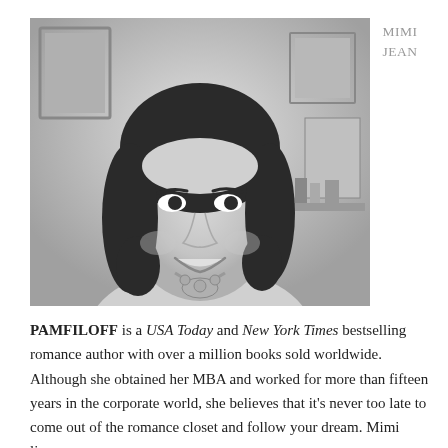MIMI JEAN
[Figure (photo): Black and white portrait photo of Mimi Jean Pamfiloff, a smiling woman with shoulder-length dark hair wearing a statement necklace, seated in front of artwork on walls.]
PAMFILOFF is a USA Today and New York Times bestselling romance author with over a million books sold worldwide. Although she obtained her MBA and worked for more than fifteen years in the corporate world, she believes that it’s never too late to come out of the romance closet and follow your dream. Mimi lives